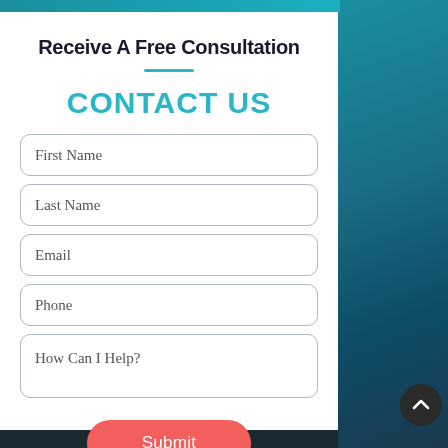Receive A Free Consultation
CONTACT US
First Name
Last Name
Email
Phone
How Can I Help?
Submit